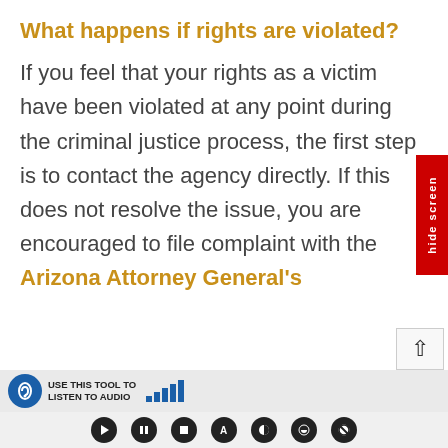What happens if rights are violated?
If you feel that your rights as a victim have been violated at any point during the criminal justice process, the first step is to contact the agency directly. If this does not resolve the issue, you are encouraged to file complaint with the Arizona Attorney General's
[Figure (screenshot): Audio toolbar with hearing icon, 'USE THIS TOOL TO LISTEN TO AUDIO' text, and signal bars]
[Figure (screenshot): Media controls bar with play, pause, stop, A, contrast, and other accessibility buttons]